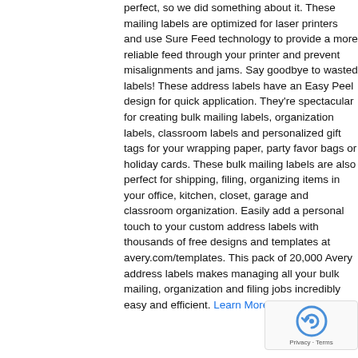perfect, so we did something about it. These mailing labels are optimized for laser printers and use Sure Feed technology to provide a more reliable feed through your printer and prevent misalignments and jams. Say goodbye to wasted labels! These address labels have an Easy Peel design for quick application. They're spectacular for creating bulk mailing labels, organization labels, classroom labels and personalized gift tags for your wrapping paper, party favor bags or holiday cards. These bulk mailing labels are also perfect for shipping, filing, organizing items in your office, kitchen, closet, garage and classroom organization. Easily add a personal touch to your custom address labels with thousands of free designs and templates at avery.com/templates. This pack of 20,000 Avery address labels makes managing all your bulk mailing, organization and filing jobs incredibly easy and efficient. Learn More
[Figure (other): reCAPTCHA badge with logo and Privacy · Terms text]